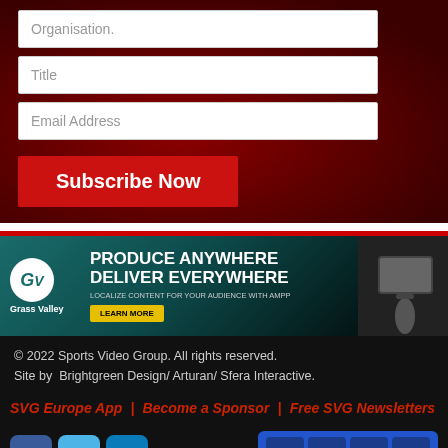Organisation.
Title
Email Address
Subscribe Now
[Figure (infographic): Grass Valley advertisement banner: PRODUCE ANYWHERE DELIVER EVERYWHERE. LOCALIZE CONTENT FOR YOUR AUDIENCE WITH AMPP. LEARN MORE button. GV logo on left, person holding tablet on right.]
© 2022 Sports Video Group. All rights reserved.
Site by  Brightgreen Design/ Arturan/ Sfera Interactive.
SVG Europe App | Become a Sponsor | Free SVG Newsletters
[Figure (logo): Social media icons: Facebook (blue), Twitter (light blue), LinkedIn (blue)]
[Figure (logo): Social media icon group on blue background: Facebook, Twitter, LinkedIn, Email/envelope]